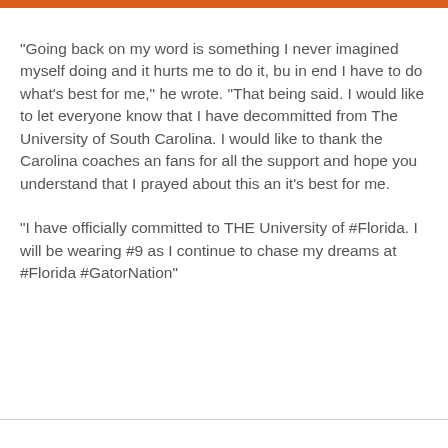“Going back on my word is something I never imagined myself doing and it hurts me to do it, bu in end I have to do what’s best for me,” he wrote. “That being said. I would like to let everyone know that I have decommitted from The University of South Carolina. I would like to thank the Carolina coaches an fans for all the support and hope you understand that I prayed about this an it’s best for me.
“I have officially committed to THE University of #Florida. I will be wearing #9 as I continue to chase my dreams at #Florida #GatorNation”